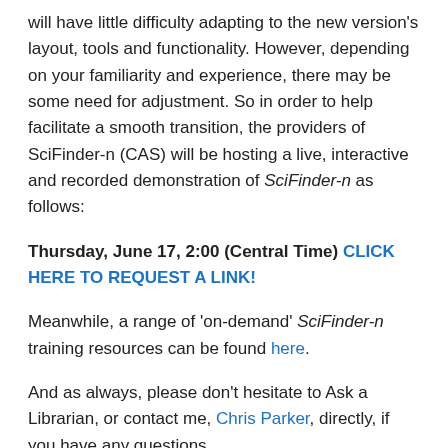will have little difficulty adapting to the new version's layout, tools and functionality. However, depending on your familiarity and experience, there may be some need for adjustment. So in order to help facilitate a smooth transition, the providers of SciFinder-n (CAS) will be hosting a live, interactive and recorded demonstration of SciFinder-n as follows:
Thursday, June 17, 2:00 (Central Time) CLICK HERE TO REQUEST A LINK!
Meanwhile, a range of 'on-demand' SciFinder-n training resources can be found here.
And as always, please don't hesitate to Ask a Librarian, or contact me, Chris Parker, directly, if you have any questions.
Categories : Resources